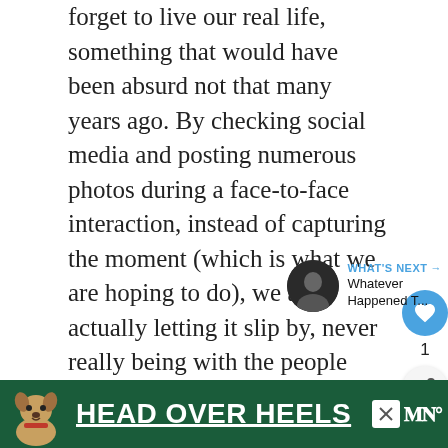forget to live our real life, something that would have been absurd not that many years ago. By checking social media and posting numerous photos during a face-to-face interaction, instead of capturing the moment (which is what we are hoping to do), we are actually letting it slip by, never really being with the people who are with us, never really feeling connected.
[Figure (screenshot): UI overlay with heart/like button (blue circle with heart icon), like count of 1, and share button]
[Figure (screenshot): What's Next panel showing a circular thumbnail of a person and text 'WHAT'S NEXT → Whatever Happened T...']
[Figure (screenshot): Advertisement banner with dark green background, dog illustration, bold white text 'HEAD OVER HEELS' with underline, close X button, and logo]